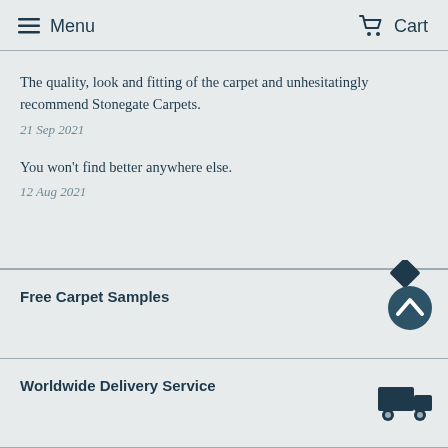Menu   Cart
The quality, look and fitting of the carpet and unhesitatingly recommend Stonegate Carpets.
21 Sep 2021
You won't find better anywhere else.
12 Aug 2021
Free Carpet Samples
Worldwide Delivery Service
Carpet Fitting Service